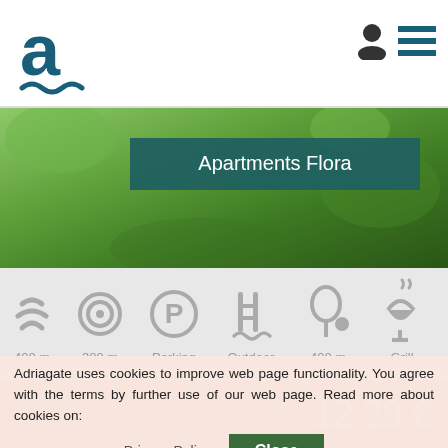[Figure (logo): Adriagate logo: stylized letter 'a' in dark teal with wave underline]
[Figure (photo): Hero photo of green outdoor area with teal semi-transparent banner overlay]
Apartments Flora
[Figure (infographic): Row of 6 amenity icons: waves (400 m), target/bullseye (300 m), parking P, swimming pool (Outdoor pool), ball/bat (400 m), grill (Grill)]
400 m  300 m  Parking space  Outdoor pool  400 m  Grill
Price per person / day: 12.29 €
Check in:
Check out:
Adriagate uses cookies to improve web page functionality. You agree with the terms by further use of our web page. Read more about cookies on:
Privacy Policy
Close
Guest: